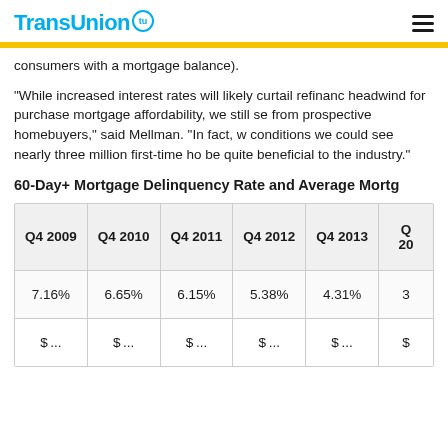TransUnion
consumers with a mortgage balance).
“While increased interest rates will likely curtail refinanc... headwind for purchase mortgage affordability, we still se... from prospective homebuyers,” said Mellman. “In fact, w... conditions we could see nearly three million first-time ho... be quite beneficial to the industry.”
60-Day+ Mortgage Delinquency Rate and Average Mortg...
| Q4 2009 | Q4 2010 | Q4 2011 | Q4 2012 | Q4 2013 | Q4 20... |
| --- | --- | --- | --- | --- | --- |
| 7.16% | 6.65% | 6.15% | 5.38% | 4.31% | 3... |
| $... | $... | $... | $... | $... | $... |